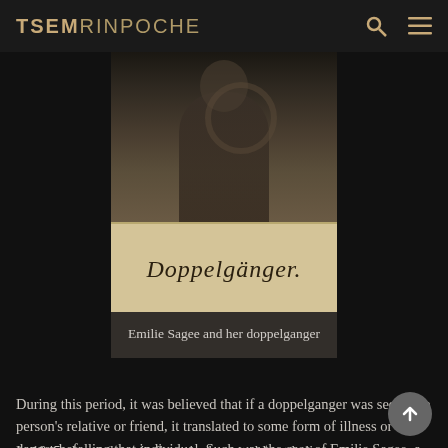TSEMRINPOCHE
[Figure (photo): Old photograph showing a figure, with the word 'Doppelgänger' written in cursive script on a light-colored label below.]
Emilie Sagee and her doppelganger
During this period, it was believed that if a doppelganger was seen by a person's relative or friend, it translated to some form of illness or danger befalling that individual. Such was the case of Emilie Sagee, a schoolteacher in mid-19th century France whose tale was chronicled by Robert Dale Owen, an American writer.
In 1845, the students in Sagee's class could not believe their eyes when Sagee's doppelganger appeared beside her...